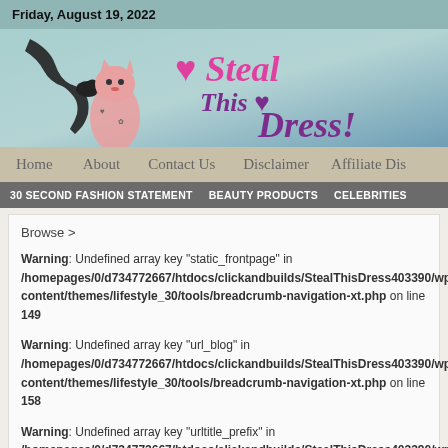Friday, August 19, 2022
[Figure (illustration): Steal This Dress website banner with illustrated cat and woman's hand, pink and purple stylized text logo]
Home   About   Contact Us   Disclaimer   Affiliate Dis
30 SECOND FASHION STATEMENT   BEAUTY PRODUCTS   CELEBRITIES
Browse >
Warning: Undefined array key "static_frontpage" in /homepages/0/d734772667/htdocs/clickandbuilds/StealThisDress403390/wp-content/themes/lifestyle_30/tools/breadcrumb-navigation-xt.php on line 149
Warning: Undefined array key "url_blog" in /homepages/0/d734772667/htdocs/clickandbuilds/StealThisDress403390/wp-content/themes/lifestyle_30/tools/breadcrumb-navigation-xt.php on line 158
Warning: Undefined array key "urltitle_prefix" in /homepages/0/d734772667/htdocs/clickandbuilds/StealThisDress403390/wp-content/themes/lifestyle_30/tools/breadcrumb-navigation-xt.php on line 158